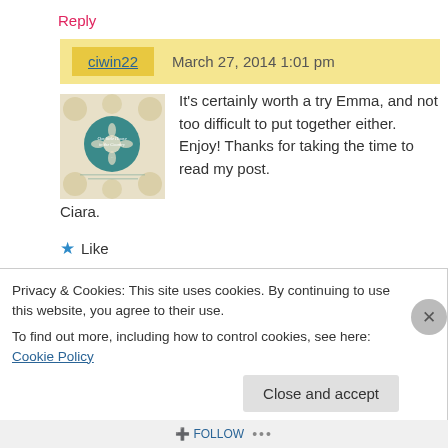Reply
ciwin22
March 27, 2014 1:01 pm
[Figure (illustration): Book cover thumbnail showing a floral design with teal circle and text 'Our Little House in the Country']
It's certainly worth a try Emma, and not too difficult to put together either. Enjoy! Thanks for taking the time to read my post. Ciara.
★ Like
Reply
Privacy & Cookies: This site uses cookies. By continuing to use this website, you agree to their use.
To find out more, including how to control cookies, see here: Cookie Policy
Close and accept
FOLLOW ...